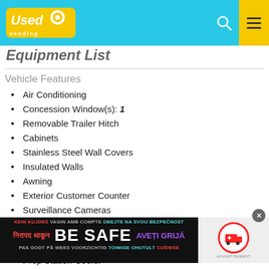Used Vending [logo header with search and menu icons]
Equipment List
Vehicle Features
Air Conditioning
Concession Window(s): 1
Removable Trailer Hitch
Cabinets
Stainless Steel Wall Covers
Insulated Walls
Awning
Exterior Customer Counter
Surveillance Cameras
[Figure (infographic): BE SAFE advertisement overlay with multilingual safety warnings]
nts - These are going fast! 🔥🎯🎨📱
Refrigeration
Prep Station Cooler